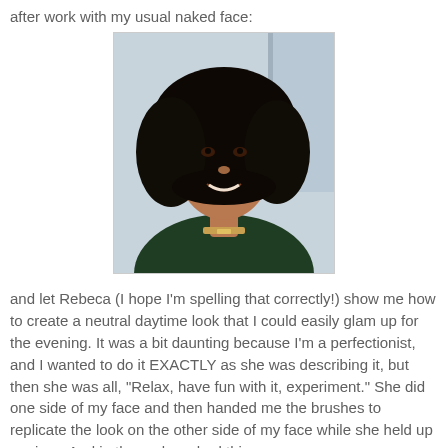after work with my usual naked face:
[Figure (photo): A woman with natural curly black hair, smiling, wearing a dark green top and a gold necklace, photographed indoors against a light blue-grey background. No makeup (naked face).]
and let Rebeca (I hope I'm spelling that correctly!) show me how to create a neutral daytime look that I could easily glam up for the evening. It was a bit daunting because I'm a perfectionist, and I wanted to do it EXACTLY as she was describing it, but then she was all, "Relax, have fun with it, experiment." She did one side of my face and then handed me the brushes to replicate the look on the other side of my face while she held up a mirror. And in the end, we had this: